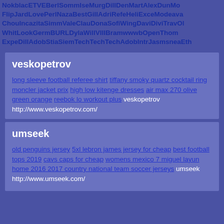NokblacETVEBerlSommIseMurgDillDenMartAlexDunMoFlipJardLovePerlNazaBestGillAdriRefeHeliExceModeaVaChouIncazitaSimmValeClauDonaSofiWingDaviDiviTravOlWhitLookGermBURLDylaWillVIIIBramwwwbOpenThomExpeDillAdobStiaSiemTechTechTechAdobIntrJasmsneaEth
veskopetrov
long sleeve football referee shirt tiffany smoky quartz cocktail ring moncler jacket prix high low kitenge dresses air max 270 olive green orange reebok lo workout plus veskopetrov http://www.veskopetrov.com/
umseek
old penguins jersey 5xl lebron james jersey for cheap best football tops 2019 cavs caps for cheap womens mexico 7 miguel layun home 2016 2017 country national team soccer jerseys umseek http://www.umseek.com/